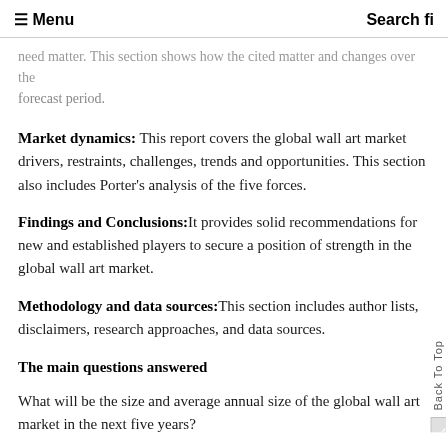☰ Menu   Search fi
need matter. This section shows how the cited matter and changes over the forecast period.
Market dynamics: This report covers the global wall art market drivers, restraints, challenges, trends and opportunities. This section also includes Porter's analysis of the five forces.
Findings and Conclusions:It provides solid recommendations for new and established players to secure a position of strength in the global wall art market.
Methodology and data sources:This section includes author lists, disclaimers, research approaches, and data sources.
The main questions answered
What will be the size and average annual size of the global wall art market in the next five years?